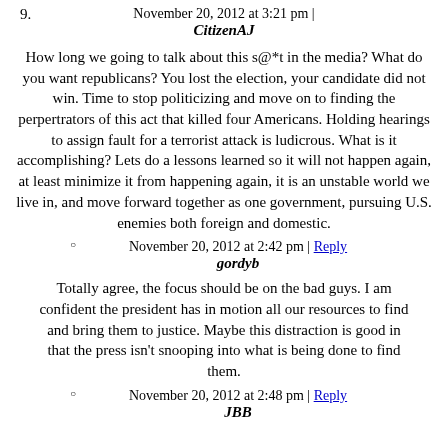November 20, 2012 at 3:21 pm |
9. CitizenAJ
How long we going to talk about this s@*t in the media? What do you want republicans? You lost the election, your candidate did not win. Time to stop politicizing and move on to finding the perpertrators of this act that killed four Americans. Holding hearings to assign fault for a terrorist attack is ludicrous. What is it accomplishing? Lets do a lessons learned so it will not happen again, at least minimize it from happening again, it is an unstable world we live in, and move forward together as one government, pursuing U.S. enemies both foreign and domestic.
November 20, 2012 at 2:42 pm | Reply
gordyb
Totally agree, the focus should be on the bad guys. I am confident the president has in motion all our resources to find and bring them to justice. Maybe this distraction is good in that the press isn't snooping into what is being done to find them.
November 20, 2012 at 2:48 pm | Reply
JBB